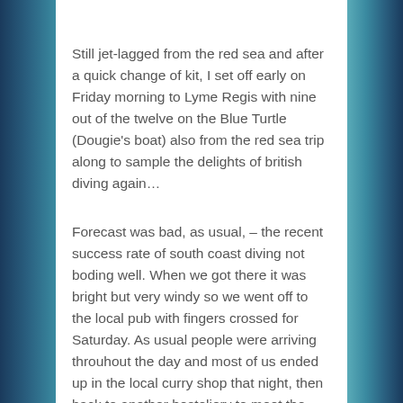Still jet-lagged from the red sea and after a quick change of kit, I set off early on Friday morning to Lyme Regis with nine out of the twelve on the Blue Turtle (Dougie's boat) also from the red sea trip along to sample the delights of british diving again…
Forecast was bad, as usual, – the recent success rate of south coast diving not boding well. When we got there it was bright but very windy so we went off to the local pub with fingers crossed for Saturday. As usual people were arriving throuhout the day and most of us ended up in the local curry shop that night, then back to another hosteliery to meet the late comers.